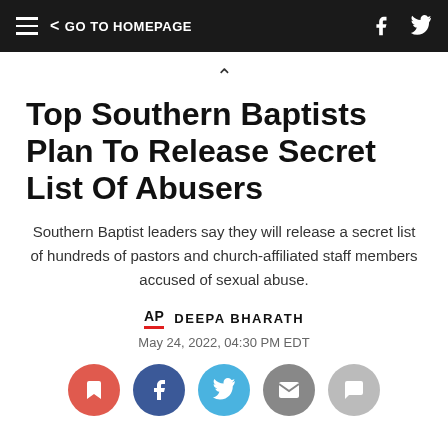GO TO HOMEPAGE
Top Southern Baptists Plan To Release Secret List Of Abusers
Southern Baptist leaders say they will release a secret list of hundreds of pastors and church-affiliated staff members accused of sexual abuse.
AP  DEEPA BHARATH
May 24, 2022, 04:30 PM EDT
[Figure (infographic): Row of social sharing buttons: bookmark (red), Facebook (dark blue), Twitter (light blue), email (gray), comment (light gray)]